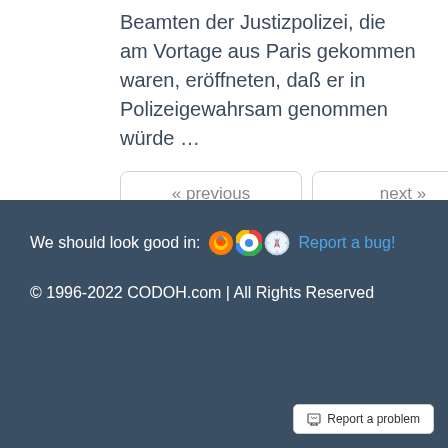Beamten der Justizpolizei, die am Vortage aus Paris gekommen waren, eröffneten, daß er in Polizeigewahrsam genommen würde …
« previous   next »
We should look good in: [Firefox] [Chrome] [Safari] Report a bug!
© 1996-2022 CODOH.com | All Rights Reserved
Report a problem